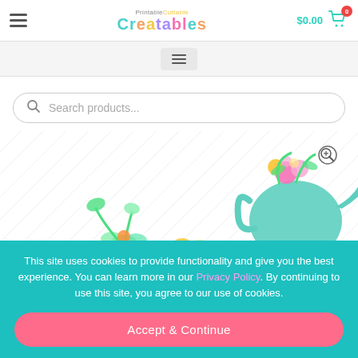PrintableCuttable Creatables — $0.00 cart
[Figure (screenshot): Sub-menu hamburger button in a gray bar]
[Figure (screenshot): Search products input field with rounded border]
[Figure (illustration): Colorful spring/garden clipart: watering can with flowers, succulents and plants on a diagonal crosshatch background. Zoom magnifier icon in top right.]
This site uses cookies to provide functionality and give you the best experience. You can learn more in our Privacy Policy. By continuing to use this site, you agree to our use of cookies.
Accept & Continue